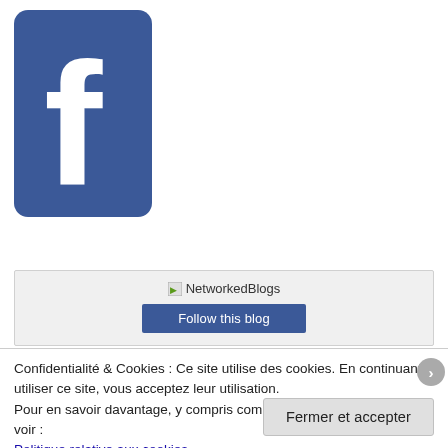[Figure (logo): Facebook logo — white lowercase 'f' on blue rounded-rectangle background]
[Figure (screenshot): NetworkedBlogs widget with broken image icon and 'Follow this blog' button on light grey background]
Confidentialité & Cookies : Ce site utilise des cookies. En continuant à utiliser ce site, vous acceptez leur utilisation.
Pour en savoir davantage, y compris comment contrôler les cookies, voir :
Politique relative aux cookies
Fermer et accepter